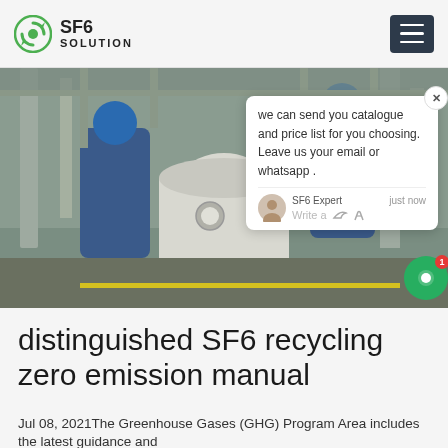SF6 SOLUTION
[Figure (photo): Two workers in blue coveralls and hard hats working on industrial SF6 gas equipment outdoors]
we can send you catalogue and price list for you choosing. Leave us your email or whatsapp . SF6 Expert just now Write a
distinguished SF6 recycling zero emission manual
Jul 08, 2021The Greenhouse Gases (GHG) Program Area includes the latest guidance and